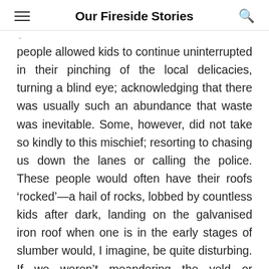Our Fireside Stories
people allowed kids to continue uninterrupted in their pinching of the local delicacies, turning a blind eye; acknowledging that there was usually such an abundance that waste was inevitable. Some, however, did not take so kindly to this mischief; resorting to chasing us down the lanes or calling the police. These people would often have their roofs ‘rocked’—a hail of rocks, lobbed by countless kids after dark, landing on the galvanised iron roof when one is in the early stages of slumber would, I imagine, be quite disturbing. If we weren’t meandering the veld or mooching around the neighbourhood, we might be found at the ‘Regent’ (the local cinema, only a walk away) or on a bus to the city, to see a movie; Sean